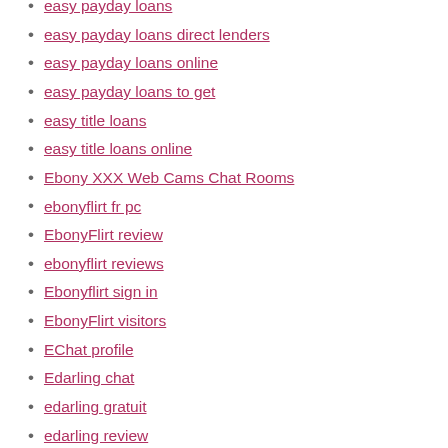easy payday loans
easy payday loans direct lenders
easy payday loans online
easy payday loans to get
easy title loans
easy title loans online
Ebony XXX Web Cams Chat Rooms
ebonyflirt fr pc
EbonyFlirt review
ebonyflirt reviews
Ebonyflirt sign in
EbonyFlirt visitors
EChat profile
Edarling chat
edarling gratuit
edarling review
eDarling visitors
edarling web
Education
eharmony fr adult dating
eharmony free dating sites
eharmony hinge dating app
eharmony hookup hotshot
eharmony it reviews
eharmony Italia